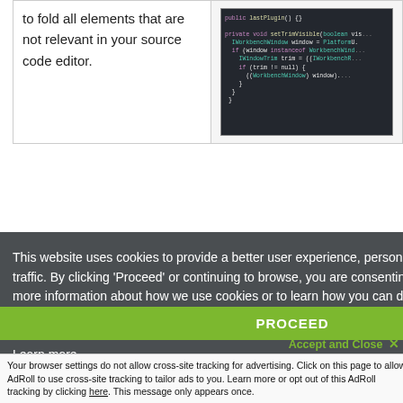to fold all elements that are not relevant in your source code editor.
[Figure (screenshot): Screenshot of a Java code editor showing private void setTrimVisible method with IWorkbenchWindow and WorkbenchWindow code]
Focus across all views. Tasktop focuses on other sources of code-focus to automatically focus consistently the outline view.
focus consistently
[Figure (screenshot): Screenshot of an IDE outline view showing class members and method signatures]
This website uses cookies to provide a better user experience, personalize ads, and analyze our traffic. By clicking ‘Proceed’ or continuing to browse, you are consenting to the use of cookies. For more information about how we use cookies or to learn how you can disable cookies, click ‘Learn more’.
Learn more
PROCEED
Accept and Close ×
Your browser settings do not allow cross-site tracking for advertising. Click on this page to allow AdRoll to use cross-site tracking to tailor ads to you. Learn more or opt out of this AdRoll tracking by clicking here. This message only appears once.